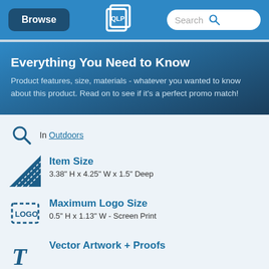Browse | [Logo] | Search
Everything You Need to Know
Product features, size, materials - whatever you wanted to know about this product. Read on to see if it's a perfect promo match!
In Outdoors
Item Size
3.38" H x 4.25" W x 1.5" Deep
Maximum Logo Size
0.5" H x 1.13" W - Screen Print
Vector Artwork + Proofs